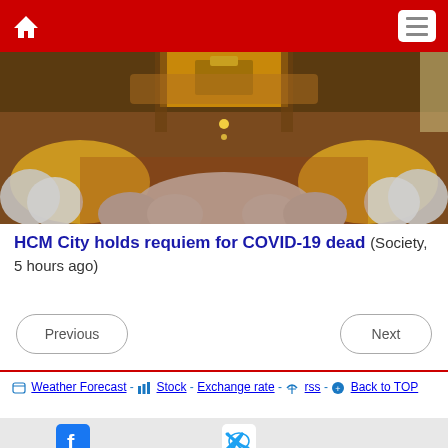Home | Menu navigation
[Figure (photo): Buddhist monks and laypeople in yellow and white robes sitting in a large ornate temple hall, viewed from behind, during a religious ceremony.]
HCM City holds requiem for COVID-19 dead (Society, 5 hours ago)
Previous | Next
Weather Forecast - Stock - Exchange rate - rss - Back to TOP